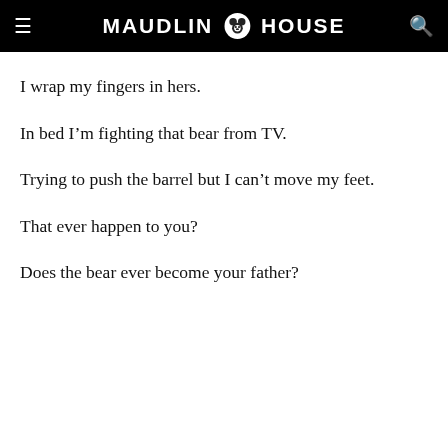MAUDLIN HOUSE
I wrap my fingers in hers.
In bed I'm fighting that bear from TV.
Trying to push the barrel but I can't move my feet.
That ever happen to you?
Does the bear ever become your father?